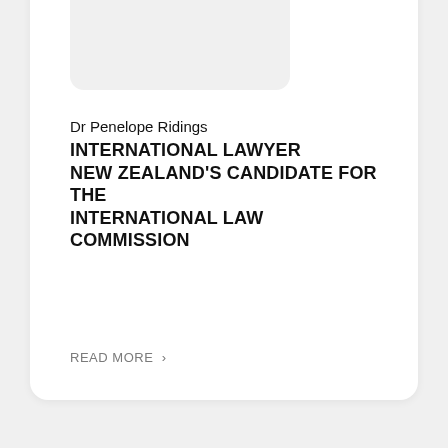[Figure (photo): Photo placeholder for Dr Penelope Ridings, top card]
Dr Penelope Ridings
INTERNATIONAL LAWYER
NEW ZEALAND'S CANDIDATE FOR THE INTERNATIONAL LAW COMMISSION
READ MORE >
[Figure (photo): Photo placeholder for Professor Kentaro Nishimoto, bottom card]
Professor Kentaro Nishimoto